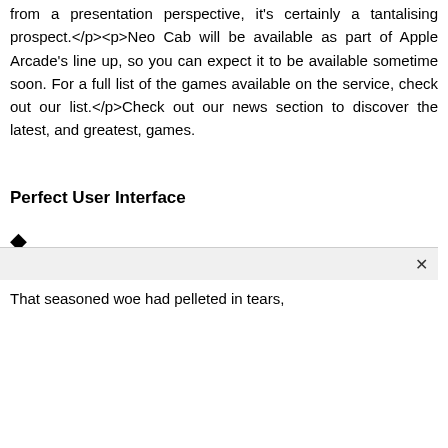from a presentation perspective, it's certainly a tantalising prospect.</p><p>Neo Cab will be available as part of Apple Arcade's line up, so you can expect it to be available sometime soon. For a full list of the games available on the service, check out our list.</p>Check out our news section to discover the latest, and greatest, games.
Perfect User Interface
◆
That seasoned woe had pelleted in tears,